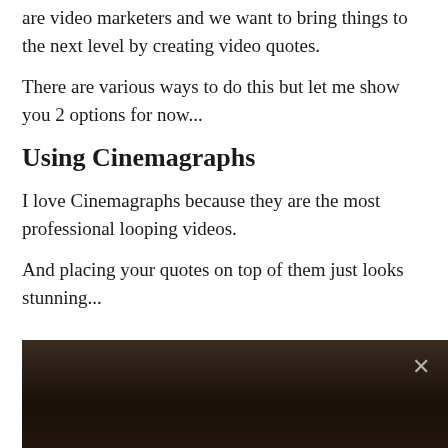are video marketers and we want to bring things to the next level by creating video quotes.
There are various ways to do this but let me show you 2 options for now...
Using Cinemagraphs
I love Cinemagraphs because they are the most professional looping videos.
And placing your quotes on top of them just looks stunning...
[Figure (photo): Dark video/image preview with a close (×) button in the upper right corner]